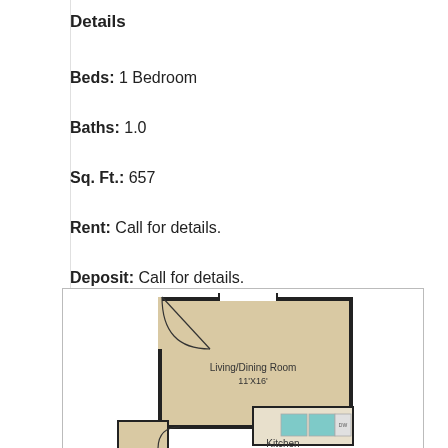Details
Beds: 1 Bedroom
Baths: 1.0
Sq. Ft.: 657
Rent: Call for details.
Deposit: Call for details.
[Figure (schematic): Apartment floor plan showing Living/Dining Room (11'X16') and partial Kitchen view, with a door swing indicated at entry.]